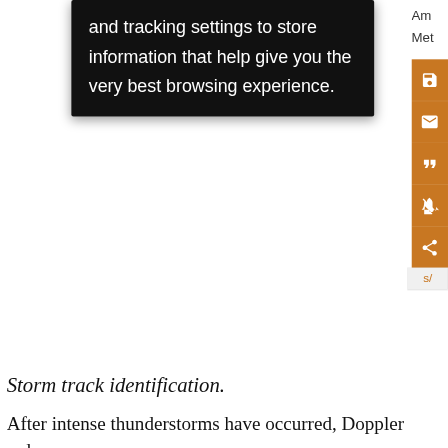[Figure (screenshot): Screenshot of a website showing a cookie consent tooltip overlay with black background containing text about tracking settings and browsing experience, plus an orange sidebar with icons for save, email, cite, alert, and share functions. Partial text on right edge reads 'Am' and 'Met'.]
Storm track identification.
After intense thunderstorms have occurred, Doppler radar